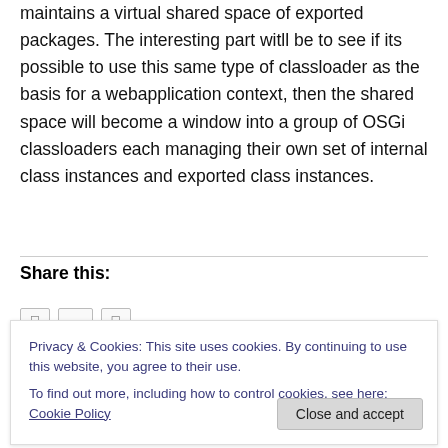maintains a virtual shared space of exported packages. The interesting part witll be to see if its possible to use this same type of classloader as the basis for a webapplication context, then the shared space will become a window into a group of OSGi classloaders each managing their own set of internal class instances and exported class instances.
Share this:
Privacy & Cookies: This site uses cookies. By continuing to use this website, you agree to their use.
To find out more, including how to control cookies, see here: Cookie Policy
Related